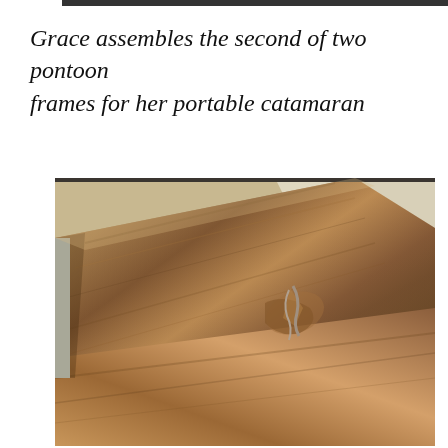Grace assembles the second of two pontoon frames for her portable catamaran
[Figure (photo): Close-up photograph of a wooden pontoon frame being assembled, showing wood grain detail with what appears to be a joint or connection point. The wood is light to medium brown with visible grain patterns. A white wall and ceiling are visible in the background upper right.]